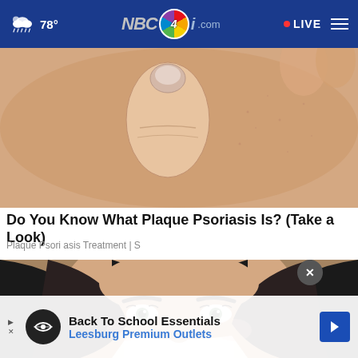78° NBC4i.com • LIVE
[Figure (photo): Close-up of skin with a thumb pressing on it, showing skin texture - related to plaque psoriasis article]
Do You Know What Plaque Psoriasis Is? (Take a Look)
Plaque Psoriasis Treatment | S
[Figure (photo): Close-up of a woman with dark hair holding a tissue to her nose, wearing no mask, eyes looking at camera]
Back To School Essentials Leesburg Premium Outlets